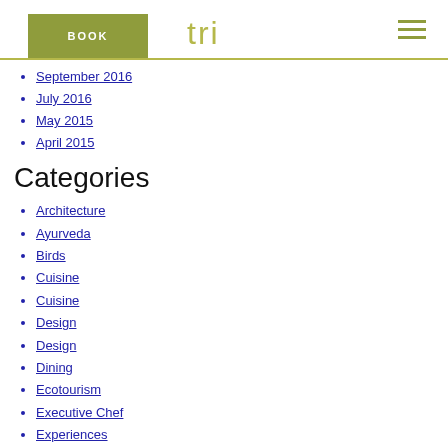BOOK | tri logo | hamburger menu
September 2016
July 2016
May 2015
April 2015
Categories
Architecture
Ayurveda
Birds
Cuisine
Cuisine
Design
Design
Dining
Ecotourism
Executive Chef
Experiences
Family Villa
History